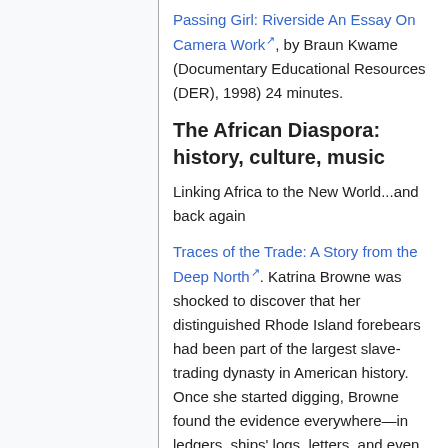Passing Girl: Riverside An Essay On Camera Work, by Braun Kwame (Documentary Educational Resources (DER), 1998) 24 minutes.
The African Diaspora: history, culture, music
Linking Africa to the New World...and back again
Traces of the Trade: A Story from the Deep North. Katrina Browne was shocked to discover that her distinguished Rhode Island forebears had been part of the largest slave-trading dynasty in American history. Once she started digging, Browne found the evidence everywhere—in ledgers, ships' logs, letters, and even in a local nursery rhyme. This film documents one